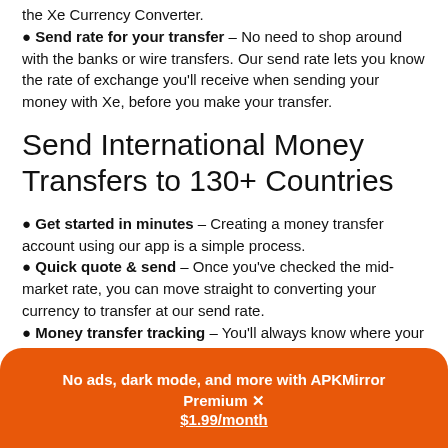the Xe Currency Converter.
Send rate for your transfer – No need to shop around with the banks or wire transfers. Our send rate lets you know the rate of exchange you'll receive when sending your money with Xe, before you make your transfer.
Send International Money Transfers to 130+ Countries
Get started in minutes – Creating a money transfer account using our app is a simple process.
Quick quote & send – Once you've checked the mid-market rate, you can move straight to converting your currency to transfer at our send rate.
Money transfer tracking – You'll always know where your money is, from the moment you confirm your transfer to when we send it out.
Add recipients – Easily add unlimited recipients for international money transfers.
No ads, dark mode, and more with APKMirror Premium × $1.99/month